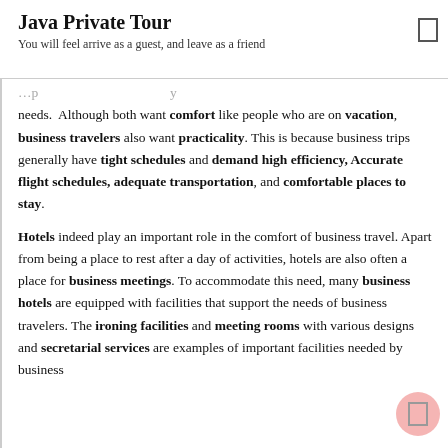Java Private Tour
You will feel arrive as a guest, and leave as a friend
needs. Although both want comfort like people who are on vacation, business travelers also want practicality. This is because business trips generally have tight schedules and demand high efficiency, Accurate flight schedules, adequate transportation, and comfortable places to stay.
Hotels indeed play an important role in the comfort of business travel. Apart from being a place to rest after a day of activities, hotels are also often a place for business meetings. To accommodate this need, many business hotels are equipped with facilities that support the needs of business travelers. The ironing facilities and meeting rooms with various designs and secretarial services are examples of important facilities needed by business